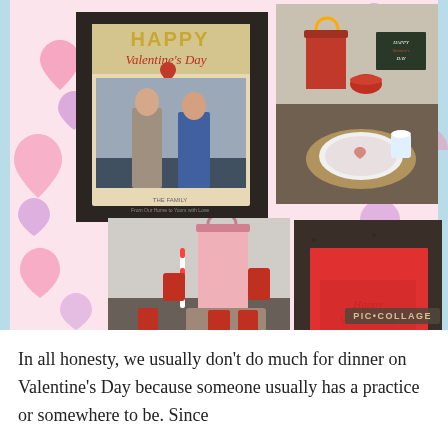[Figure (photo): A PicCollage photo collage with a pink heart-patterned background. Four photos arranged in a 2x2 grid: top-left shows a Happy Valentine's Day greeting card with a couple holding a red heart, top-right shows Valentine's Day table setup with red gift bag and chalkboard sign, bottom-left shows Valentine's Day table setting with plates and red candles, bottom-right shows a red card/envelope on a dark background. PIC·COLLAGE watermark in bottom right.]
In all honesty, we usually don't do much for dinner on Valentine's Day because someone usually has a practice or somewhere to be. Since